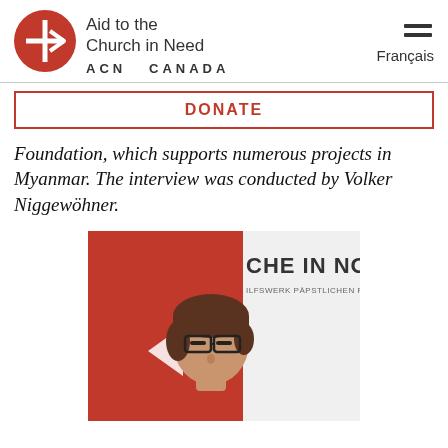Aid to the Church in Need — ACN CANADA
DONATE
Foundation, which supports numerous projects in Myanmar. The interview was conducted by Volker Niggewöhner.
[Figure (photo): A woman with short brown hair and glasses standing in front of an ACN (Kirche in Not) banner with red background.]